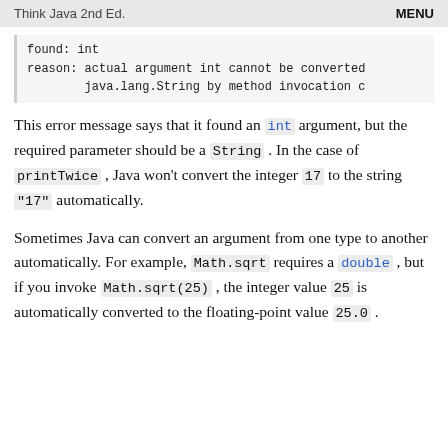Think Java 2nd Ed.    MENU
found: int
reason: actual argument int cannot be converted
         java.lang.String by method invocation c
This error message says that it found an int argument, but the required parameter should be a String. In the case of printTwice, Java won't convert the integer 17 to the string "17" automatically.
Sometimes Java can convert an argument from one type to another automatically. For example, Math.sqrt requires a double, but if you invoke Math.sqrt(25), the integer value 25 is automatically converted to the floating-point value 25.0.